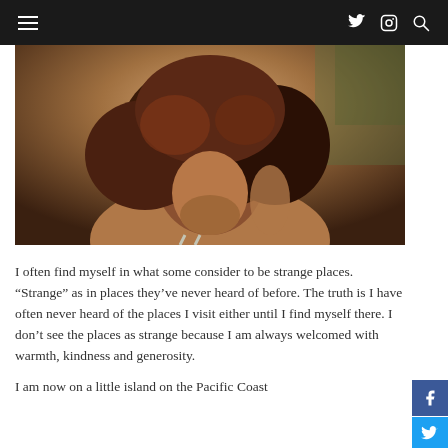Navigation bar with hamburger menu, Twitter, Instagram, and Search icons
[Figure (photo): Close-up photo of a person with large curly/frizzy hair, head tilted down, wearing a light-colored bikini top, warm brown/tan skin, tropical background]
I often find myself in what some consider to be strange places.  “Strange” as in places they’ve never heard of before.  The truth is I have often never heard of the places I visit either until I find myself there.  I don’t see the places as strange because I am always welcomed with warmth, kindness and generosity.
I am now on a little island on the Pacific Coast